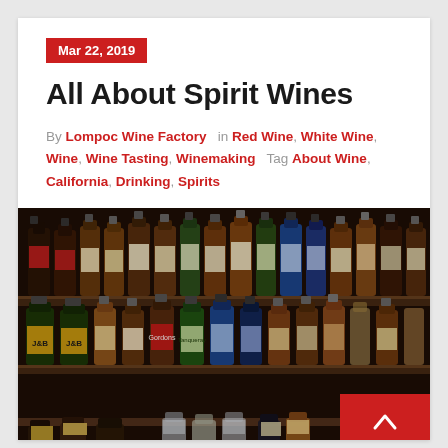Mar 22, 2019
All About Spirit Wines
By Lompoc Wine Factory in Red Wine, White Wine, Wine, Wine Tasting, Winemaking Tag About Wine, California, Drinking, Spirits
[Figure (photo): Shelves of assorted spirit and wine bottles in a bar setting, including J&B whisky, various Scotch whiskies, and other spirits in amber, green, and blue bottles]